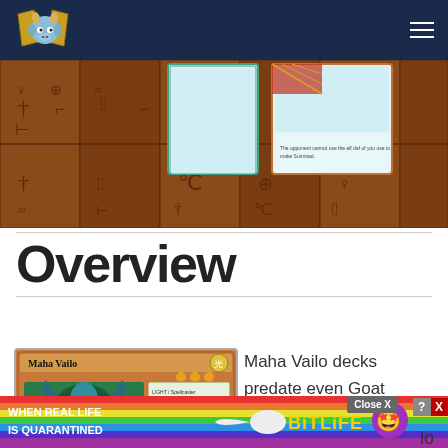[Figure (screenshot): Website navigation bar with blue background, goat mascot logo on the left, hamburger menu icon on the right]
[Figure (screenshot): Yu-Gi-Oh! video game screenshot showing a duel field with Egyptian hieroglyph wood background and cards on the field]
Overview
[Figure (photo): Maha Vailo Yu-Gi-Oh! card image showing a light monster with 3 stars]
Maha Vailo decks predate even Goat Format, though their
[Figure (screenshot): BitLife advertisement banner with rainbow background, text: WHEN REAL LIFE IS QUARANTINED BitLiFe, with emoji star icon]
lo